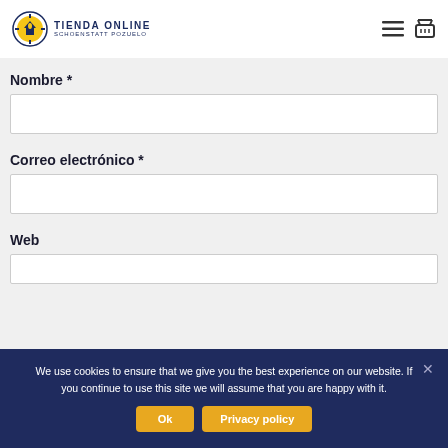[Figure (logo): Tienda Online Schoenstatt Pozuelo logo with compass/flame icon in blue and yellow]
Nombre *
Correo electrónico *
Web
We use cookies to ensure that we give you the best experience on our website. If you continue to use this site we will assume that you are happy with it.
Ok
Privacy policy